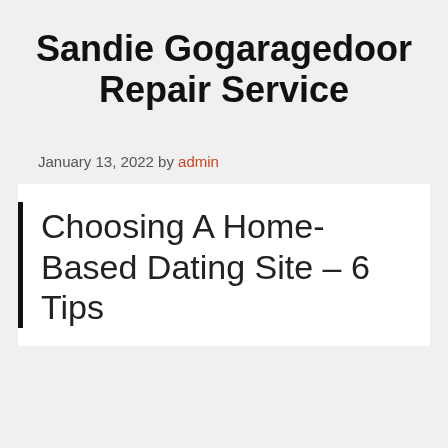Sandie Gogaragedoor Repair Service
January 13, 2022 by admin
Choosing A Home-Based Dating Site – 6 Tips